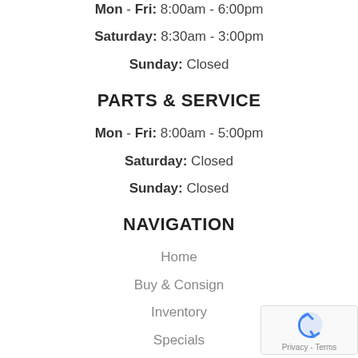Mon - Fri: 8:00am - 6:00pm
Saturday: 8:30am - 3:00pm
Sunday: Closed
PARTS & SERVICE
Mon - Fri: 8:00am - 5:00pm
Saturday: Closed
Sunday: Closed
NAVIGATION
Home
Buy & Consign
Inventory
Specials
Finance